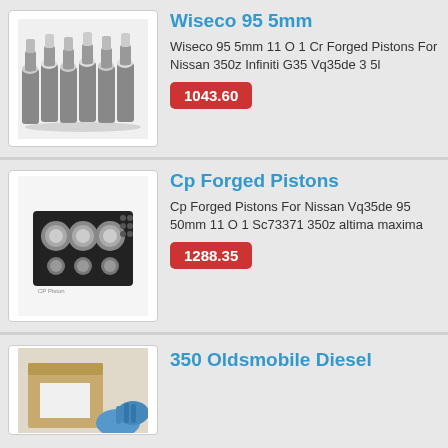[Figure (photo): Multiple chrome-topped pistons standing upright in a group, photo on white background]
Wiseco 95 5mm
Wiseco 95 5mm 11 O 1 Cr Forged Pistons For Nissan 350z Infiniti G35 Vq35de 3 5l
1043.60
[Figure (photo): Black electronic component (capacitor bank / forged piston set in packaging), photo on white background]
Cp Forged Pistons
Cp Forged Pistons For Nissan Vq35de 95 50mm 11 O 1 Sc73371 350z altima maxima
1288.35
[Figure (photo): Cardboard box with blue gloved hands, partial product image]
350 Oldsmobile Diesel